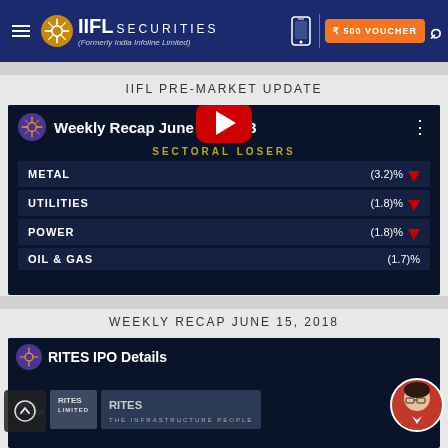IIFL Securities (Formerly India Infoline Limited) | ₹500 VOUCHER
IIFL PRE-MARKET UPDATE
[Figure (screenshot): YouTube video thumbnail showing IIFL Weekly Recap June 15 2018 with Sectoral Losers: METAL (3.2)%, UTILITIES (1.8)%, POWER (1.8)%, OIL & GAS (1.7)%]
WEEKLY RECAP JUNE 15, 2018
[Figure (screenshot): YouTube video thumbnail for RITES IPO Details]